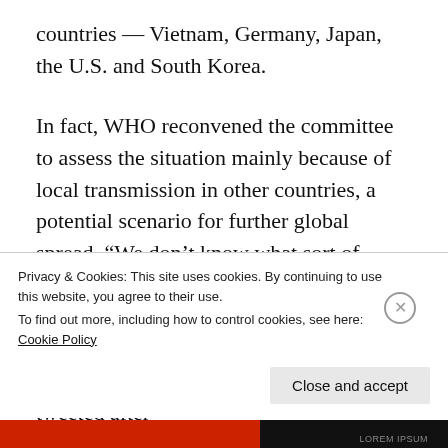countries — Vietnam, Germany, Japan, the U.S. and South Korea.
In fact, WHO reconvened the committee to assess the situation mainly because of local transmission in other countries, a potential scenario for further global spread. “We don’t know what sort of damage this novel coronavirus could do if it were to spread in a country with a weaker health system,” Director-General of WHO Tedros Adhanom Ghebreyesus tweeted after
Privacy & Cookies: This site uses cookies. By continuing to use this website, you agree to their use.
To find out more, including how to control cookies, see here: Cookie Policy